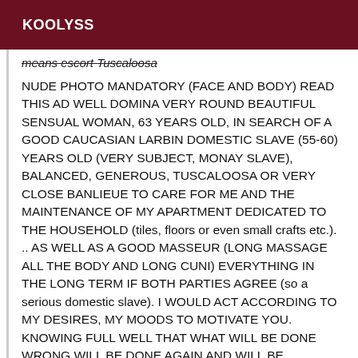KOOLYSS
means escort Tuscaloosa
NUDE PHOTO MANDATORY (FACE AND BODY) READ THIS AD WELL DOMINA VERY ROUND BEAUTIFUL SENSUAL WOMAN, 63 YEARS OLD, IN SEARCH OF A GOOD CAUCASIAN LARBIN DOMESTIC SLAVE (55-60) YEARS OLD (VERY SUBJECT, MONAY SLAVE), BALANCED, GENEROUS, TUSCALOOSA OR VERY CLOSE BANLIEUE TO CARE FOR ME AND THE MAINTENANCE OF MY APARTMENT DEDICATED TO THE HOUSEHOLD (tiles, floors or even small crafts etc.). .. AS WELL AS A GOOD MASSEUR (LONG MASSAGE ALL THE BODY AND LONG CUNI) EVERYTHING IN THE LONG TERM IF BOTH PARTIES AGREE (so a serious domestic slave). I WOULD ACT ACCORDING TO MY DESIRES, MY MOODS TO MOTIVATE YOU. KNOWING FULL WELL THAT WHAT WILL BE DONE WRONG WILL BE DONE AGAIN AND WILL BE SEVERELY PUNISHED